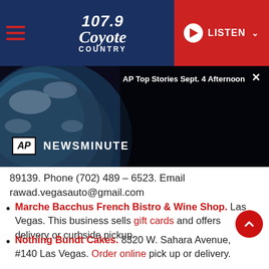107.9 Coyote Country | LISTEN
[Figure (screenshot): AP Newsminute video player showing earth from space with text 'AP Top Stories Sept. 4 Afternoon']
89139. Phone (702) 489 – 6523. Email rawad.vegasauto@gmail.com
Marche Bacchus French Bistro & Wine Shop. Las Vegas. This business sells gift cards and offers delivery or curbside pickup.
Nothing Bundt Cakes. 8320 W. Sahara Avenue, #140 Las Vegas. Order online pick up or delivery.